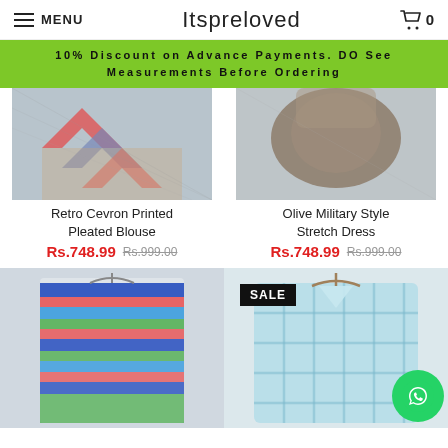MENU  Itspreloved  0
10% Discount on Advance Payments. DO See Measurements Before Ordering
[Figure (photo): Retro Chevron Printed Pleated Blouse product photo]
Retro Cevron Printed Pleated Blouse
Rs.748.99  Rs.999.00
[Figure (photo): Olive Military Style Stretch Dress product photo]
Olive Military Style Stretch Dress
Rs.748.99  Rs.999.00
[Figure (photo): Colorful striped sleeveless dress product photo]
[Figure (photo): Light blue plaid shirt product photo with SALE badge]